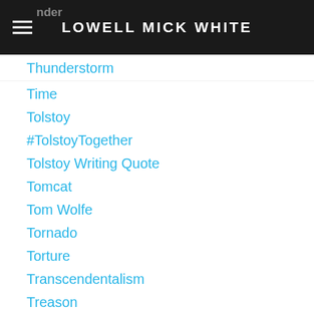LOWELL MICK WHITE
Thunderstorm
Time
Tolstoy
#TolstoyTogether
Tolstoy Writing Quote
Tomcat
Tom Wolfe
Tornado
Torture
Transcendentalism
Treason
Tropes
Trout
True Believers
Turkey
Tweet
Twitter